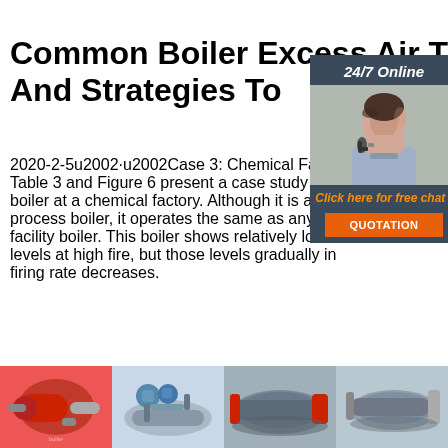Common Boiler Excess Air Trends And Strategies To
[Figure (photo): Customer service representative with headset, sidebar with 24/7 Online label, Click here for free chat, and QUOTATION button]
2020-2-5u2002·u2002Case 3: Chemical Factory. Table 3 and Figure 6 present a case study of a boiler at a chemical factory. Although it is an industrial process boiler, it operates the same as any commercial facility boiler. This boiler shows relatively low excess air levels at high fire, but those levels gradually increase as the firing rate decreases.
[Figure (photo): Orange and red industrial boiler burner component]
[Figure (photo): Industrial pipe and valve assembly with gauges]
[Figure (photo): Large grey industrial boiler or tank outdoors]
[Figure (photo): Grey cylindrical industrial boiler or tank with red fittings]